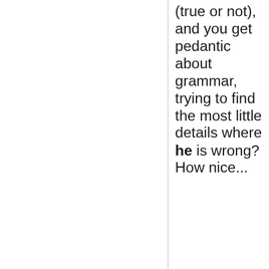(true or not), and you get pedantic about grammar, trying to find the most little details where he is wrong? How nice...